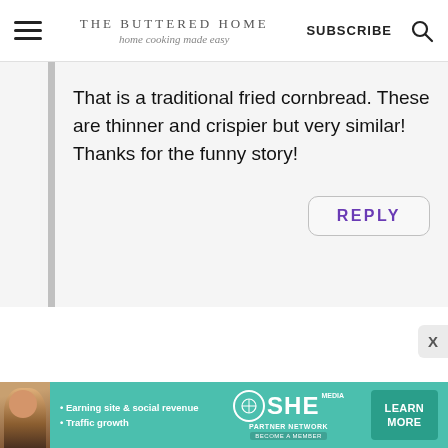THE BUTTERED HOME home cooking made easy | SUBSCRIBE
That is a traditional fried cornbread. These are thinner and crispier but very similar! Thanks for the funny story!
REPLY
[Figure (screenshot): Advertisement banner for SHE Media Partner Network with text: Earning site & social revenue, Traffic growth, LEARN MORE button]